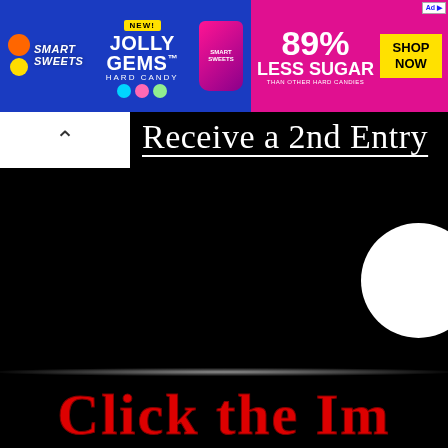[Figure (screenshot): Smart Sweets advertisement banner for Jolly Gems Hard Candy, featuring 89% Less Sugar claim and Shop Now button on pink background, on blue background.]
^
Receive a 2nd Entry
[Figure (screenshot): Large black area with a white circle partially visible on the right side and a faint glow line near the bottom.]
Click the Im...